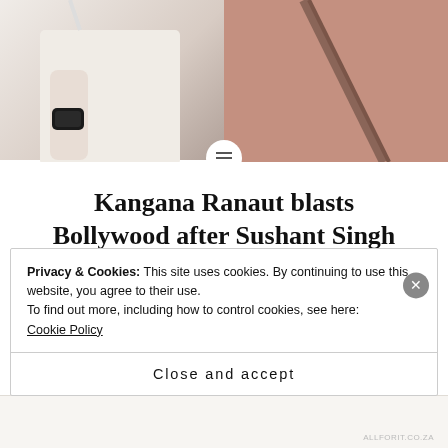[Figure (photo): Two people side by side: person on the left wearing white with a watch/bracelet visible on their wrist, person on the right wearing pink/mauve clothing with a diagonal strap. Photo is cropped at the top of the page.]
Kangana Ranaut blasts Bollywood after Sushant Singh Rajput's death – Was it suicide or planned murder ?
Kangana Ranaut blasts Bollywood after Sushant Singh Rajput's death – Was it suicide or planned murder ?
Privacy & Cookies: This site uses cookies. By continuing to use this website, you agree to their use.
To find out more, including how to control cookies, see here:
Cookie Policy
Close and accept